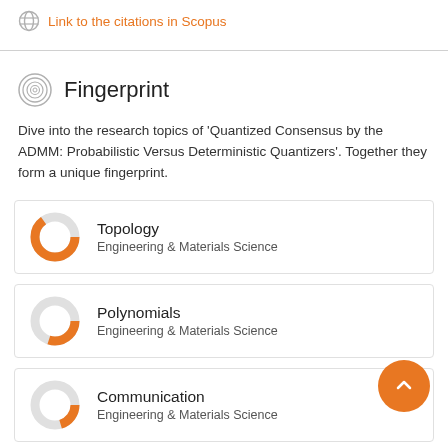Link to the citations in Scopus
Fingerprint
Dive into the research topics of 'Quantized Consensus by the ADMM: Probabilistic Versus Deterministic Quantizers'. Together they form a unique fingerprint.
Topology — Engineering & Materials Science
Polynomials — Engineering & Materials Science
Communication — Engineering & Materials Science